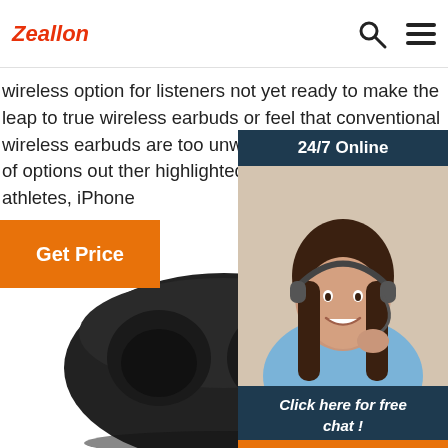Zeallon
wireless option for listeners not yet ready to make the leap to true wireless earbuds or feel that conventional wireless earbuds are too unwieldy. There are plenty of options out there, we highlighted the absolute best for athletes, iPhone
Get Price
[Figure (infographic): Customer support chat widget with '24/7 Online' header, photo of smiling woman with headset, 'Click here for free chat!' text, and orange QUOTATION button]
[Figure (photo): Black true wireless earbuds charging case, top view showing two earbud slots]